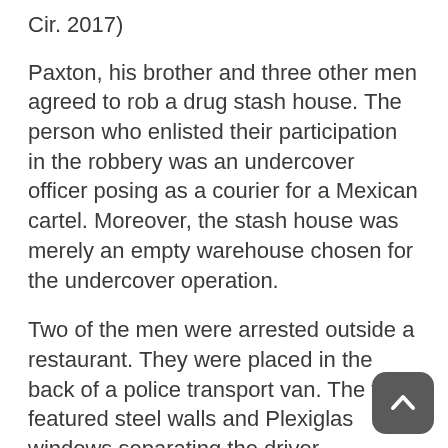Cir. 2017)
Paxton, his brother and three other men agreed to rob a drug stash house. The person who enlisted their participation in the robbery was an undercover officer posing as a courier for a Mexican cartel. Moreover, the stash house was merely an empty warehouse chosen for the undercover operation.
Two of the men were arrested outside a restaurant. They were placed in the back of a police transport van. The van featured steel walls and Plexiglas windows separating the driver compartment from two rear confinement compartments. Officers drove the van to the fake stash house, where the other three men were arrested.